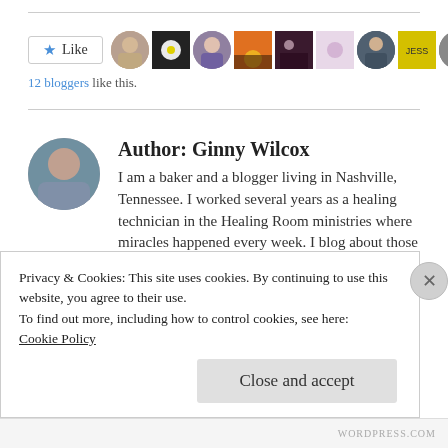[Figure (screenshot): Like button with star icon and row of blogger avatar thumbnails]
12 bloggers like this.
Author: Ginny Wilcox
I am a baker and a blogger living in Nashville, Tennessee. I worked several years as a healing technician in the Healing Room ministries where miracles happened every week. I blog about those experiences and conversations I've had with God while going about daily life. I also
Privacy & Cookies: This site uses cookies. By continuing to use this website, you agree to their use.
To find out more, including how to control cookies, see here:
Cookie Policy
Close and accept